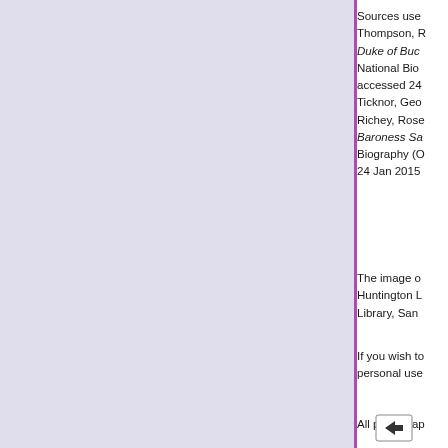Sources use Thompson, R Duke of Buc National Bio accessed 24 Ticknor, Geo Richey, Rose Baroness Sa Biography (O 24 Jan 2015
The image o Huntington L Library, San
If you wish to personal use
All photograp
[Figure (other): Navigation arrow icon button]